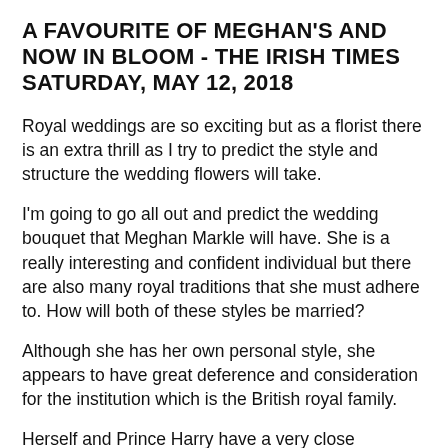A FAVOURITE OF MEGHAN'S AND NOW IN BLOOM - THE IRISH TIMES SATURDAY, MAY 12, 2018
Royal weddings are so exciting but as a florist there is an extra thrill as I try to predict the style and structure the wedding flowers will take.
I'm going to go all out and predict the wedding bouquet that Meghan Markle will have. She is a really interesting and confident individual but there are also many royal traditions that she must adhere to. How will both of these styles be married?
Although she has her own personal style, she appears to have great deference and consideration for the institution which is the British royal family.
Herself and Prince Harry have a very close relationship but they also have a creative streak